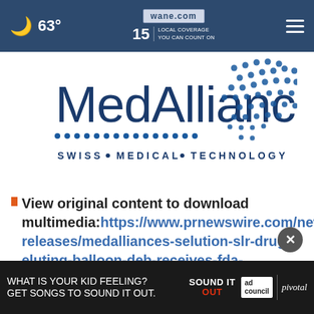63° | wane.com | 15 LOCAL COVERAGE YOU CAN COUNT ON
[Figure (logo): MedAlliance logo with blue dot pattern and text 'SWISS • MEDICAL • TECHNOLOGY']
View original content to download multimedia:https://www.prnewswire.com/news-releases/medalliances-selution-slr-drug-eluting-balloon-deb-receives-fda-investigational-device-exemption-ide-approval---making-selution-slr-available-to-us-patients-301356759.html
[Figure (infographic): Ad overlay: 'WHAT IS YOUR KID FEELING? GET SONGS TO SOUND IT OUT.' with Sound It Out logo, ad council logo, and Pivotal branding]